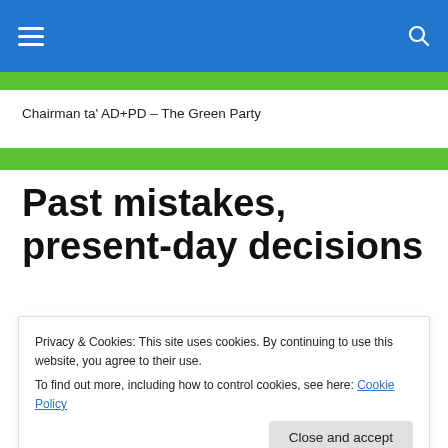Chairman ta' AD+PD – The Green Party
Past mistakes, present-day decisions
[Figure (logo): The Times of Malta newspaper logo with crown emblem]
Privacy & Cookies: This site uses cookies. By continuing to use this website, you agree to their use. To find out more, including how to control cookies, see here: Cookie Policy
published on Saturday June 22, 2019